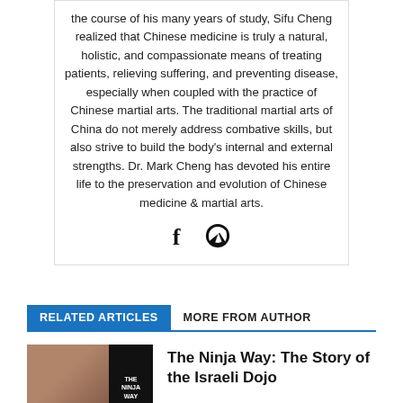the course of his many years of study, Sifu Cheng realized that Chinese medicine is truly a natural, holistic, and compassionate means of treating patients, relieving suffering, and preventing disease, especially when coupled with the practice of Chinese martial arts. The traditional martial arts of China do not merely address combative skills, but also strive to build the body's internal and external strengths. Dr. Mark Cheng has devoted his entire life to the preservation and evolution of Chinese medicine & martial arts.
[Figure (other): Social media icons: Facebook (f) and WordPress logo]
RELATED ARTICLES | MORE FROM AUTHOR
[Figure (photo): Thumbnail image showing a man's face on the left and a book cover reading 'THE NINJA WAY' on the right]
The Ninja Way: The Story of the Israeli Dojo
[Figure (photo): Thumbnail image for Never Heel Up article]
Never Heel Up